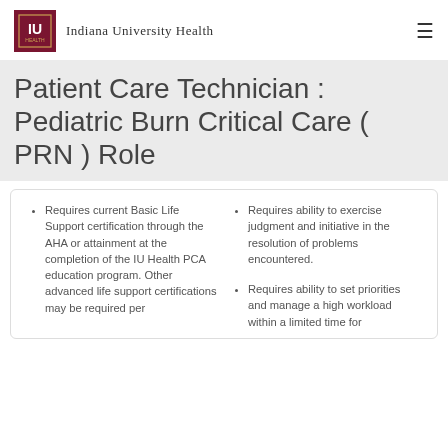Indiana University Health
Patient Care Technician : Pediatric Burn Critical Care ( PRN ) Role
Requires current Basic Life Support certification through the AHA or attainment at the completion of the IU Health PCA education program. Other advanced life support certifications may be required per
Requires ability to exercise judgment and initiative in the resolution of problems encountered.
Requires ability to set priorities and manage a high workload within a limited time for